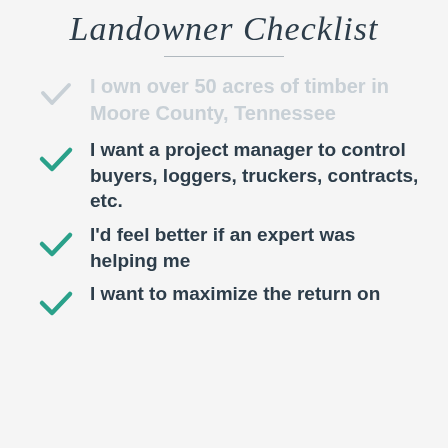Landowner Checklist
I own over 50 acres of timber in Moore County, Tennessee
I want a project manager to control buyers, loggers, truckers, contracts, etc.
I'd feel better if an expert was helping me
I want to maximize the return on